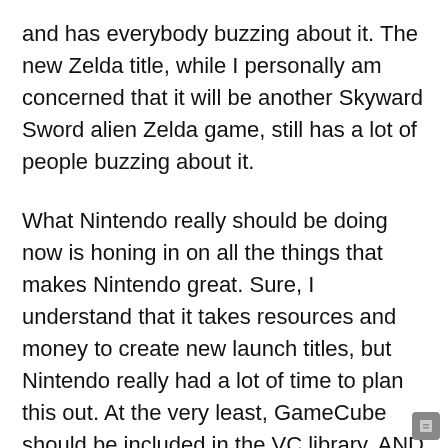and has everybody buzzing about it. The new Zelda title, while I personally am concerned that it will be another Skyward Sword alien Zelda game, still has a lot of people buzzing about it.
What Nintendo really should be doing now is honing in on all the things that makes Nintendo great. Sure, I understand that it takes resources and money to create new launch titles, but Nintendo really had a lot of time to plan this out. At the very least, GameCube should be included in the VC library, AND they should be releasing some big VC titles for free to those who purchase a Switch on launch.
It shouldn't be very difficult to port over some popular gamecube titles to VC, heck, I'd buy the Switch just to